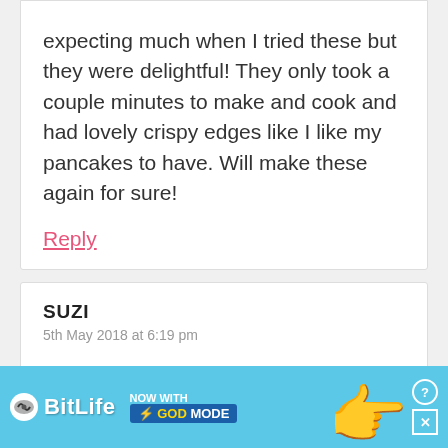expecting much when I tried these but they were delightful! They only took a couple minutes to make and cook and had lovely crispy edges like I like my pancakes to have. Will make these again for sure!
Reply
SUZI
5th May 2018 at 6:19 pm
Can you sub for oat flour?
Reply
JASO
7th M
[Figure (advertisement): BitLife advertisement banner with teal background showing 'NOW WITH GOD MODE' badge and pointing hand graphic]